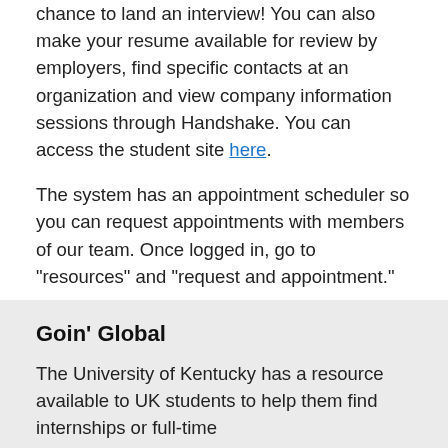during the fall and spring semesters. Don't miss out on this chance to land an interview! You can also make your resume available for review by employers, find specific contacts at an organization and view company information sessions through Handshake. You can access the student site here.
The system has an appointment scheduler so you can request appointments with members of our team. Once logged in, go to "resources" and "request and appointment."
Handshake also has a resources page that allows you to practice interviewing, has dedicated resources for graduate students, for international students, and resources to help you construct resumes, learn about opportunities in your area of study, and utilize all kinds of fantastic information. More information on these resources is listed below.
Goin' Global
The University of Kentucky has a resource available to UK students to help them find internships or full-time